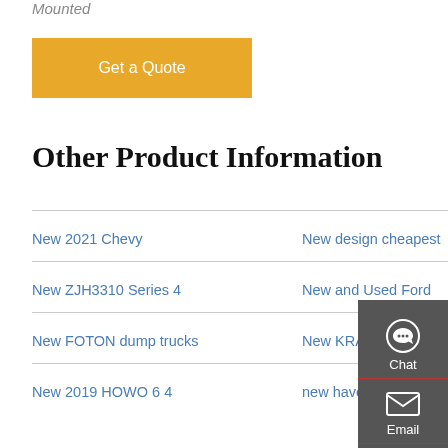Mounted
Get a Quote
Other Product Information
New 2021 Chevy
New design cheapest
New ZJH3310 Series 4
New and Used Ford
New FOTON dump trucks
New KRAZ C dump truck
New 2019 HOWO 6 4
new haven heavy